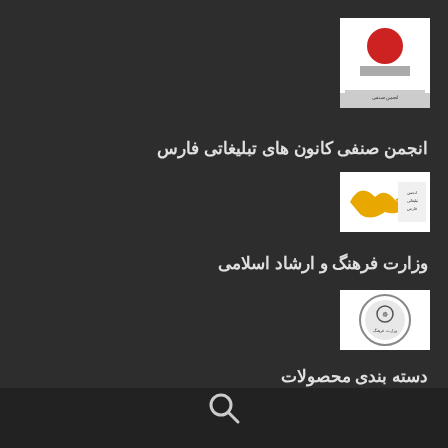[Figure (logo): Iranian advertising companies association logo - red circle on white/grey background with Farsi text below]
انجمن صنفی کانون های تبلیغاتی فارس
[Figure (logo): Farsi advertising association logo - yellow/gold bird shape on white background with Farsi text]
وزارت فرهنگ و ارشاد اسلامی
[Figure (logo): Ministry of Culture and Islamic Guidance logo - circular emblem with Farsi text]
دسته بندی محصولات
هدایای مدیریتی
[Figure (other): Search magnifying glass icon in bottom bar]